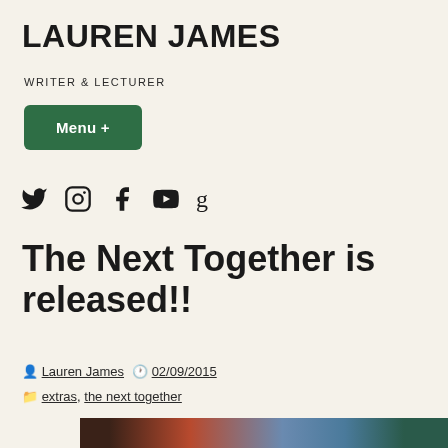LAUREN JAMES
WRITER & LECTURER
Menu +
[Figure (other): Social media icons: Twitter, Instagram, Facebook, YouTube, Goodreads]
The Next Together is released!!
Lauren James  02/09/2015
extras, the next together
[Figure (photo): Book cover image for The Next Together with text 'HOW MANY TIMES CAN YOU LOSE THE ONE YOU LOVE?']